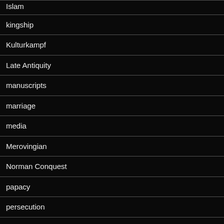Islam
kingship
Kulturkampf
Late Antiquity
manuscripts
marriage
media
Merovingian
Norman Conquest
papacy
persecution
podcast
Public history